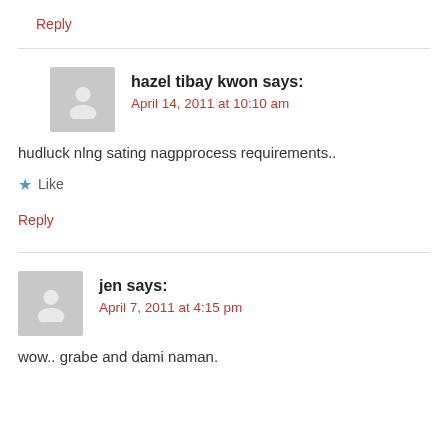Reply
hazel tibay kwon says:
April 14, 2011 at 10:10 am
hudluck nlng sating nagpprocess requirements..
Like
Reply
jen says:
April 7, 2011 at 4:15 pm
wow.. grabe and dami naman.